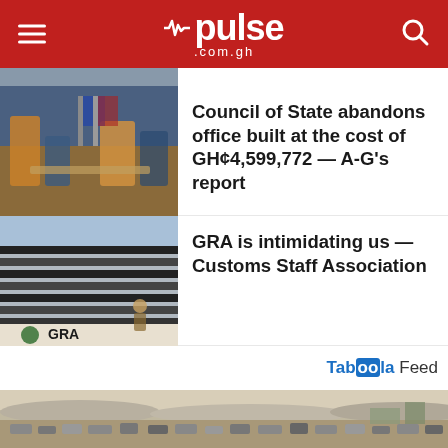pulse .com.gh
[Figure (photo): Small strip photo at top]
[Figure (photo): People in traditional wear in an office setting]
Council of State abandons office built at the cost of GH¢4,599,772 — A-G's report
[Figure (photo): GRA building exterior with sign]
GRA is intimidating us — Customs Staff Association
Taboola Feed
[Figure (photo): Aerial/landscape photo of a congested area with cars and buildings]